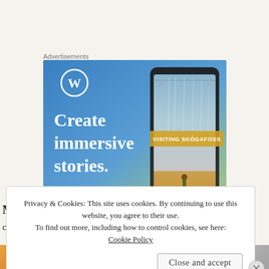Advertisements
[Figure (illustration): WordPress advertisement banner with blue-to-green gradient background. WordPress logo (white W in circle) top left. Text reads 'Create immersive stories.' in white serif font. Right side shows a smartphone displaying a waterfall photo with overlay text 'VISITING SKÓGAFOSS' in yellow/gold.]
Privacy & Cookies: This site uses cookies. By continuing to use this website, you agree to their use.
To find out more, including how to control cookies, see here:
Cookie Policy
Close and accept